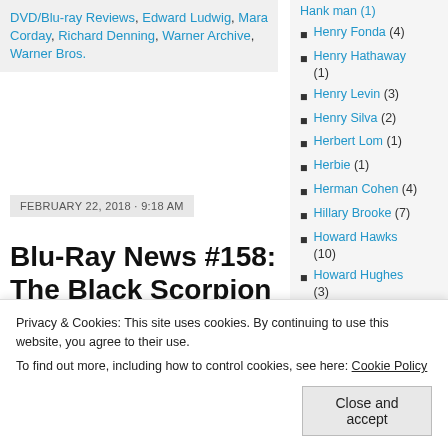DVD/Blu-ray Reviews, Edward Ludwig, Mara Corday, Richard Denning, Warner Archive, Warner Bros.
FEBRUARY 22, 2018 · 9:18 AM
Blu-Ray News #158: The Black Scorpion (1957).
[Figure (photo): Orange/red movie banner with yellow italic text reading HE'LL GET YOU]
Henry Fonda (4)
Henry Hathaway (1)
Henry Levin (3)
Henry Silva (2)
Herbert Lom (1)
Herbie (1)
Herman Cohen (4)
Hillary Brooke (7)
Howard Hawks (10)
Howard Hughes (3)
Howard W. Koch
Privacy & Cookies: This site uses cookies. By continuing to use this website, you agree to their use. To find out more, including how to control cookies, see here: Cookie Policy
Close and accept